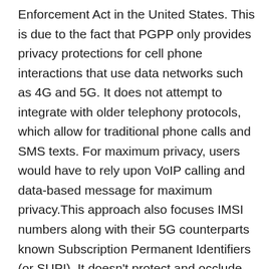Enforcement Act in the United States. This is due to the fact that PGPP only provides privacy protections for cell phone interactions that use data networks such as 4G and 5G. It does not attempt to integrate with older telephony protocols, which allow for traditional phone calls and SMS texts. For maximum privacy, users would have to rely upon VoIP calling and data-based message for maximum privacy.This approach also focuses IMSI numbers along with their 5G counterparts known Subscription Permanent Identifiers (or SUPI). It doesn't protect and occlude static hardware identifiers such as International Mobile Equipment Identity numbers (IMEI) or media access control addresses (MAC) addresses. They are not used in cell tower